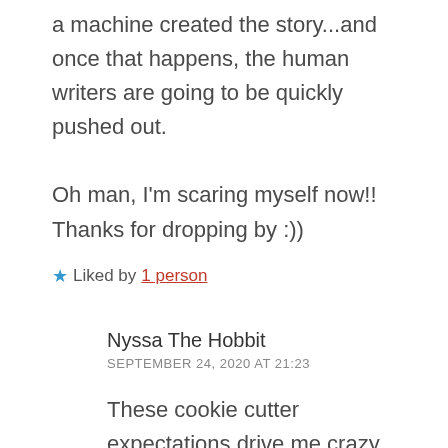a machine created the story...and once that happens, the human writers are going to be quickly pushed out.

Oh man, I'm scaring myself now!! Thanks for dropping by :))
★ Liked by 1 person
Nyssa The Hobbit
SEPTEMBER 24, 2020 AT 21:23
These cookie cutter expectations drive me crazy. I follow an idea, not formulas, and like to explore it from